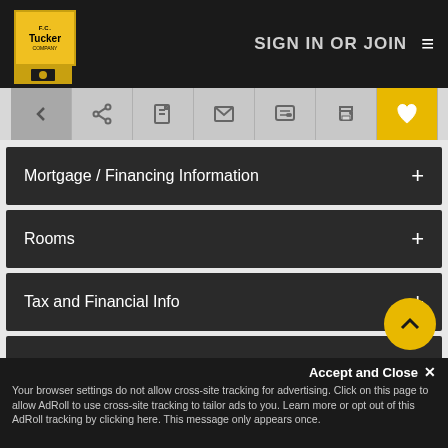[Figure (screenshot): F.C. Tucker real estate website header with logo, SIGN IN OR JOIN navigation, and toolbar with back, share, edit, email, chat, print, and favorite (heart) icons]
Mortgage / Financing Information
Rooms
Tax and Financial Info
Community Information
Features & Amenities
Accept and Close ✕
Your browser settings do not allow cross-site tracking for advertising. Click on this page to allow AdRoll to use cross-site tracking to tailor ads to you. Learn more or opt out of this AdRoll tracking by clicking here. This message only appears once.